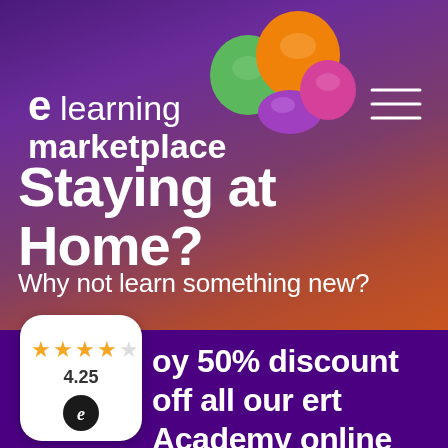[Figure (logo): eLearning Marketplace logo with colorful balloons (green, orange, purple, pink) above the text 'elearning marketplace']
Staying at Home?
Why not learn something new?
[Figure (infographic): Rating badge showing 4 gold stars, rating 4.25, and a circular 'e' icon on white rounded rectangle badge]
Enjoy 50% discount off all our Acert Academy online courses